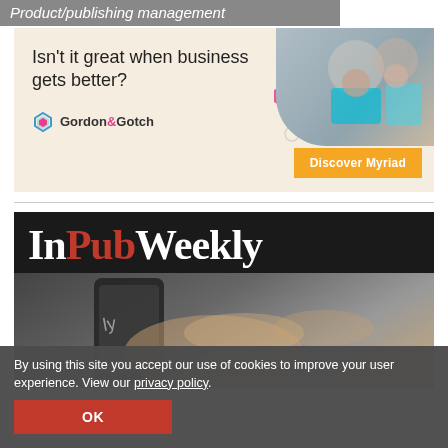Product/publishing management
[Figure (illustration): Gordon & Gotch advertisement banner with text 'Isn't it great when business gets better?', Gordon&Gotch logo, 'Discover Myriad' orange button, and photo of business people with tablets on right side.]
[Figure (logo): InPubWeekly publication banner on dark background with hand holding smartphone, title reading 'InPubWeekly' with 'Pub' in red.]
By using this site you accept our use of cookies to improve your user experience. View our privacy policy.
OK